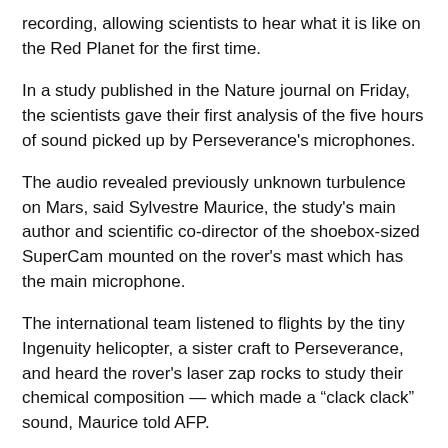recording, allowing scientists to hear what it is like on the Red Planet for the first time.
In a study published in the Nature journal on Friday, the scientists gave their first analysis of the five hours of sound picked up by Perseverance's microphones.
The audio revealed previously unknown turbulence on Mars, said Sylvestre Maurice, the study's main author and scientific co-director of the shoebox-sized SuperCam mounted on the rover's mast which has the main microphone.
The international team listened to flights by the tiny Ingenuity helicopter, a sister craft to Perseverance, and heard the rover's laser zap rocks to study their chemical composition — which made a “clack clack” sound, Maurice told AFP.
“We had a very localised sound source, between two and five metres (six to 16 metres) from its target, and we knew exactly when it was going to fire,” he said.